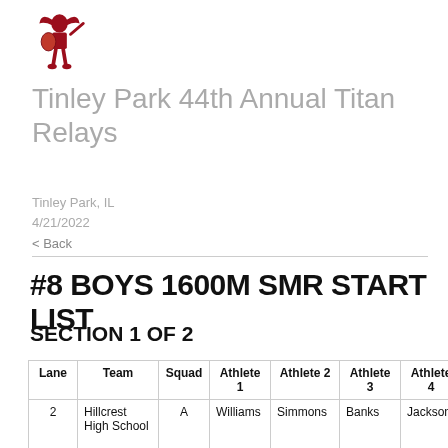[Figure (illustration): Warrior/Spartan mascot logo in red]
Tinley Park 44th Annual Titan Relays
Tinley Park, IL
4/21/2022
< Back
#8 BOYS 1600M SMR START LIST
SECTION 1 OF 2
| Lane | Team | Squad | Athlete 1 | Athlete 2 | Athlete 3 | Athlete 4 | Note |
| --- | --- | --- | --- | --- | --- | --- | --- |
| 2 | Hillcrest High School | A | Williams | Simmons | Banks | Jackson | Unverified: Tinley Park Relays |
| 3 | Bremen | A | Brown | Debrue | Dudek | Esparza | Unverified: |